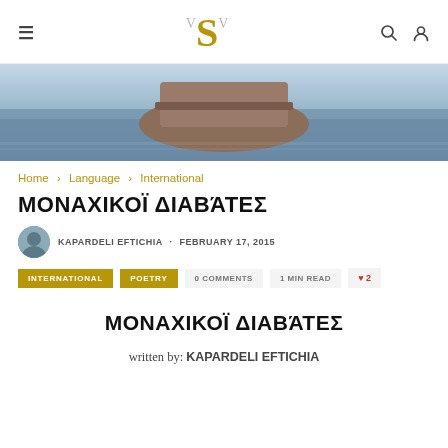≡ VS [logo] 🔍 👤
[Figure (photo): Hero image showing a boat or hull on water, muted blue-grey tones]
Home › Language › International
ΜΟΝΑΧΙΚΟΊ ΔΙΑΒΆΤΕΣ
KAPARDELI EFTICHIA · FEBRUARY 17, 2015
INTERNATIONAL   POETRY   0 COMMENTS   1 MIN READ   ♥ 2
ΜΟΝΑΧΙΚΟΊ ΔΙΑΒΆΤΕΣ
written by: KAPARDELI EFTICHIA